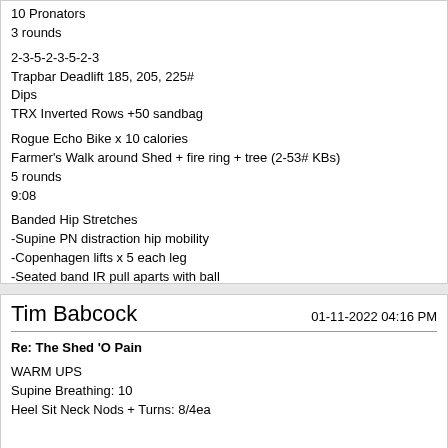10 Pronators
3 rounds

2-3-5-2-3-5-2-3
Trapbar Deadlift 185, 205, 225#
Dips
TRX Inverted Rows +50 sandbag

Rogue Echo Bike x 10 calories
Farmer's Walk around Shed + fire ring + tree (2-53# KBs)
5 rounds
9:08

Banded Hip Stretches
-Supine PN distraction hip mobility
-Copenhagen lifts x 5 each leg
-Seated band IR pull aparts with ball
-KB hip flexor lifts with hands on wall
-Banded wall clams
5 ring muscle ups
3 sets of 15 Reverse Hypers 120#
Tim Babcock
01-11-2022 04:16 PM
Re: The Shed 'O Pain
WARM UPS
Supine Breathing: 10
Heel Sit Neck Nods + Turns: 8/4ea